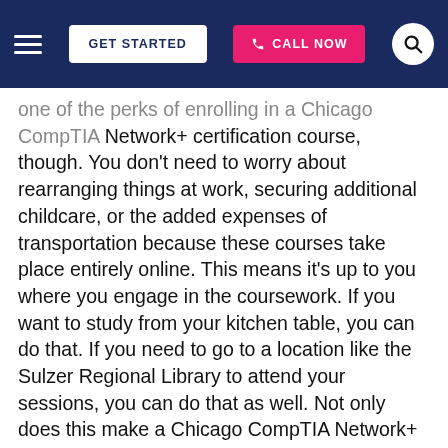GET STARTED | CALL NOW
one of the perks of enrolling in a Chicago CompTIA Network+ certification course, though. You don't need to worry about rearranging things at work, securing additional childcare, or the added expenses of transportation because these courses take place entirely online. This means it's up to you where you engage in the coursework. If you want to study from your kitchen table, you can do that. If you need to go to a location like the Sulzer Regional Library to attend your sessions, you can do that as well. Not only does this make a Chicago CompTIA Network+ certification course a convenient option for preparing for the exam, but it gives you the flexibility to pick a study environment that meshes with your learning style. Whether you need a little bit of background noise to do your best work, a change of scenery to help you focus, or the comforts of home to be productive, you